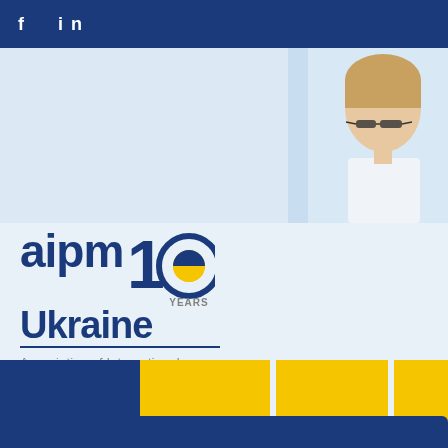f  in
[Figure (photo): Woman wearing safety glasses in a laboratory setting, partially visible in upper right]
[Figure (logo): AIPM Ukraine 10 Years logo - Association of International Pharmaceutical Manufacturers, A member of IFPMA]
[Figure (infographic): Color blocks row: blue square followed by yellow blocks separated by light gaps]
[Figure (infographic): Dark blue bar at bottom of page]